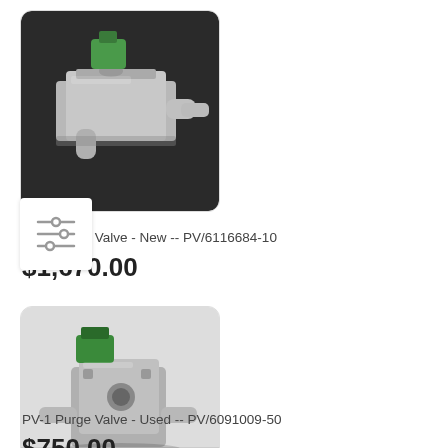[Figure (photo): PV-3 Purge Valve product photo - stainless steel valve with green actuator, shown in a dark background]
PV-3 Purge Valve - New -- PV/6116684-10
$1,670.00
[Figure (photo): PV-1 Purge Valve product photo - used stainless steel valve with green actuator, shown on light background]
PV-1 Purge Valve - Used -- PV/6091009-50
$750.00